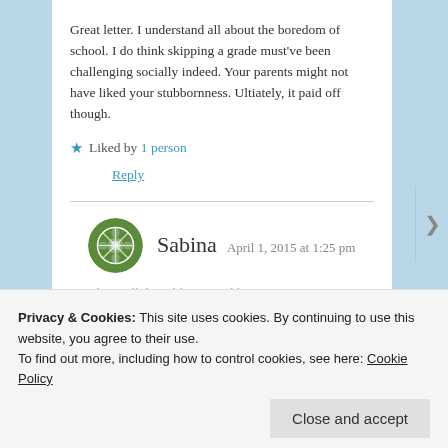Great letter. I understand all about the boredom of school. I do think skipping a grade must've been challenging socially indeed. Your parents might not have liked your stubbornness. Ultiately, it paid off though.
★ Liked by 1 person
Reply
Sabina  April 1, 2015 at 1:25 pm
They still don't like my stubbornness.
Privacy & Cookies: This site uses cookies. By continuing to use this website, you agree to their use.
To find out more, including how to control cookies, see here: Cookie Policy
Close and accept